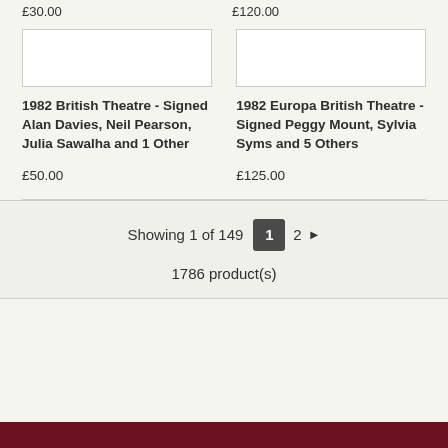£30.00
£120.00
[Figure (other): Product image placeholder box (white rectangle with border)]
1982 British Theatre - Signed Alan Davies, Neil Pearson, Julia Sawalha and 1 Other
£50.00
[Figure (other): Product image placeholder box (white rectangle with border)]
1982 Europa British Theatre - Signed Peggy Mount, Sylvia Syms and 5 Others
£125.00
Showing 1 of 149   1  2 ▶
1786 product(s)